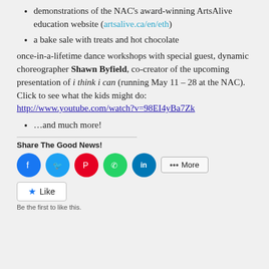demonstrations of the NAC's award-winning ArtsAlive education website (artsalive.ca/en/eth)
a bake sale with treats and hot chocolate
once-in-a-lifetime dance workshops with special guest, dynamic choreographer Shawn Byfield, co-creator of the upcoming presentation of i think i can (running May 11 – 28 at the NAC). Click to see what the kids might do: http://www.youtube.com/watch?v=98EI4yBa7Zk
…and much more!
Share The Good News!
Be the first to like this.